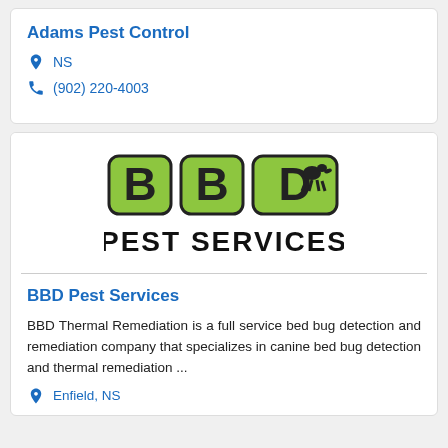Adams Pest Control
NS
(902) 220-4003
[Figure (logo): BBD Pest Services logo with green block letters BBD and a dog silhouette, and bold black text PEST SERVICES below]
BBD Pest Services
BBD Thermal Remediation is a full service bed bug detection and remediation company that specializes in canine bed bug detection and thermal remediation ...
Enfield, NS